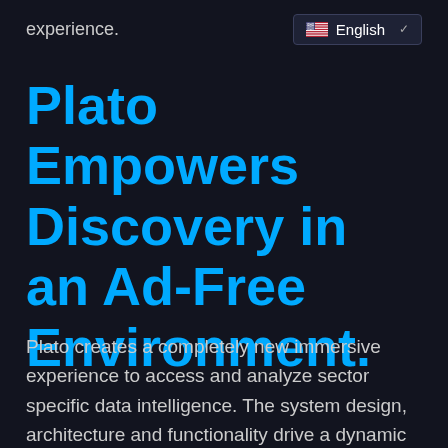experience.
[Figure (other): Language selector dropdown showing US flag and 'English' text with chevron]
Plato Empowers Discovery in an Ad-Free Environment.
Plato creates a completely new immersive experience to access and analyze sector specific data intelligence. The system design, architecture and functionality drive a dynamic